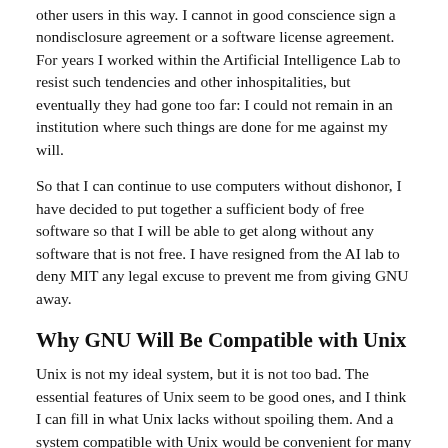other users in this way. I cannot in good conscience sign a nondisclosure agreement or a software license agreement. For years I worked within the Artificial Intelligence Lab to resist such tendencies and other inhospitalities, but eventually they had gone too far: I could not remain in an institution where such things are done for me against my will.
So that I can continue to use computers without dishonor, I have decided to put together a sufficient body of free software so that I will be able to get along without any software that is not free. I have resigned from the AI lab to deny MIT any legal excuse to prevent me from giving GNU away.
Why GNU Will Be Compatible with Unix
Unix is not my ideal system, but it is not too bad. The essential features of Unix seem to be good ones, and I think I can fill in what Unix lacks without spoiling them. And a system compatible with Unix would be convenient for many other people to adopt.
How GNU Will Be Available